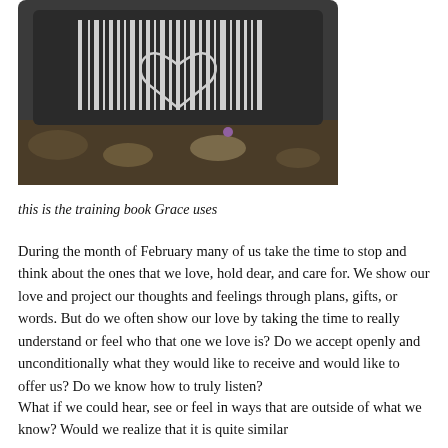[Figure (photo): A dark wooden board or book with decorative white line art, resting on ground with foliage in background.]
this is the training book Grace uses
During the month of February many of us take the time to stop and think about the ones that we love, hold dear, and care for. We show our love and project our thoughts and feelings through plans, gifts, or words. But do we often show our love by taking the time to really understand or feel who that one we love is? Do we accept openly and unconditionally what they would like to receive and would like to offer us? Do we know how to truly listen?
What if we could hear, see or feel in ways that are outside of what we know? Would we realize that it is quite similar